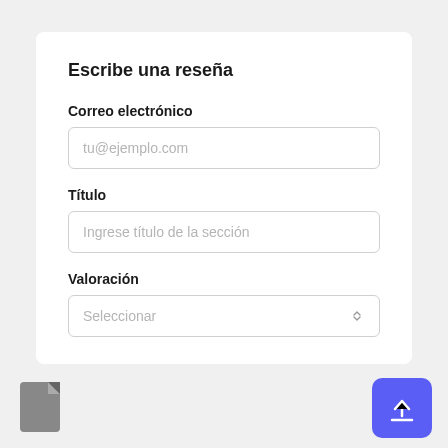Escribe una reseña
Correo electrónico
tu@ejemplo.com
Título
Ingrese título de la sección
Valoración
Seleccionar
[Figure (screenshot): File icon (gray document) at bottom left]
[Figure (screenshot): Upload/back button (blue rounded square with up-arrow icon) at bottom right]